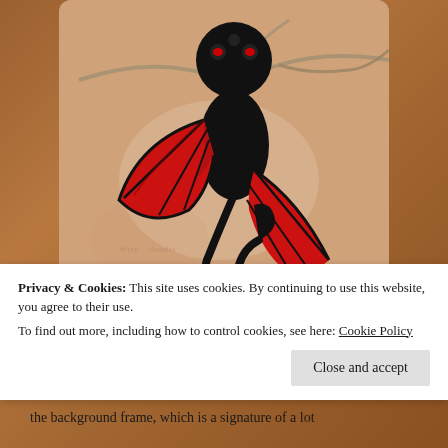[Figure (photo): A black and red dragon figurine pendant/ornament hanging on a branch against a light peach/tan background. The dragon has black glossy body with red wing membranes and red eyes.]
Then finally, last but certainly not least is this Ruby,
Privacy & Cookies: This site uses cookies. By continuing to use this website, you agree to their use.
To find out more, including how to control cookies, see here: Cookie Policy
Close and accept
the background frame, which is a signature of a lot